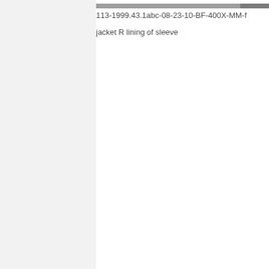[Figure (photo): Partial view of a gray fabric or textile item, cropped at the top of the page]
113-1999.43.1abc-08-23-10-BF-400X-MM-f
jacket R lining of sleeve